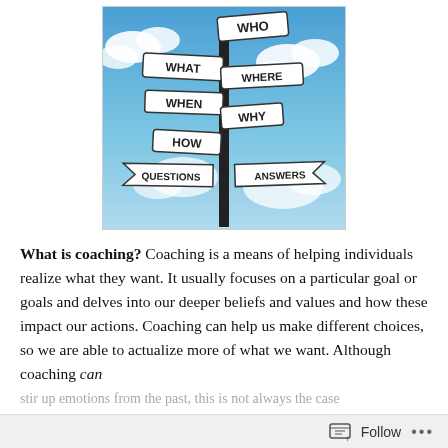[Figure (illustration): A street signpost with multiple directional signs reading WHO, WHAT, WHERE, WHEN, WHY, HOW, QUESTIONS, and ANSWERS, against a blue cloudy sky background.]
What is coaching?  Coaching is a means of helping individuals realize what they want. It usually focuses on a particular goal or goals and delves into our deeper beliefs and values and how these impact our actions. Coaching can help us make different choices, so we are able to actualize more of what we want. Although coaching can stir up emotions from the past, this is not always the case
Follow ...